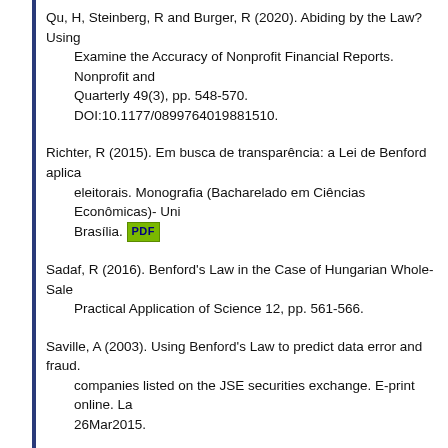Qu, H, Steinberg, R and Burger, R (2020). Abiding by the Law? Using Examine the Accuracy of Nonprofit Financial Reports. Nonprofit and Quarterly 49(3), pp. 548-570. DOI:10.1177/0899764019881510.
Richter, R (2015). Em busca de transparência: a Lei de Benford aplica eleitorais. Monografia (Bacharelado em Ciências Econômicas)- Uni Brasília. [PDF]
Sadaf, R (2016). Benford's Law in the Case of Hungarian Whole-Sale Practical Application of Science 12, pp. 561-566.
Saville, A (2003). Using Benford's Law to predict data error and fraud. companies listed on the JSE securities exchange. E-print online. La 26Mar2015.
Tošić, A and Vičič, J (2021). Use of Benford's law on academic publish of Informetrics 15(3), 101163. DOI:10.1016/j.joi.2021.101163.
Vičič, J and Tošić, A (2021). Application of Benford's law on cryptocurr 2021110472. DOI:10.20944/preprints202111.0472.v1.
Yang, L (2014). Benford's Law and Fraud Detection. Honors Thesis, W